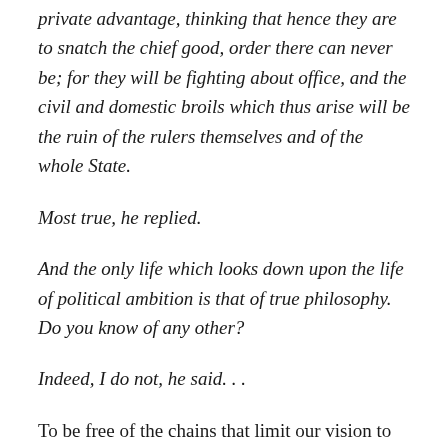private advantage, thinking that hence they are to snatch the chief good, order there can never be; for they will be fighting about office, and the civil and domestic broils which thus arise will be the ruin of the rulers themselves and of the whole State.
Most true, he replied.
And the only life which looks down upon the life of political ambition is that of true philosophy. Do you know of any other?
Indeed, I do not, he said. . .
To be free of the chains that limit our vision to shadows